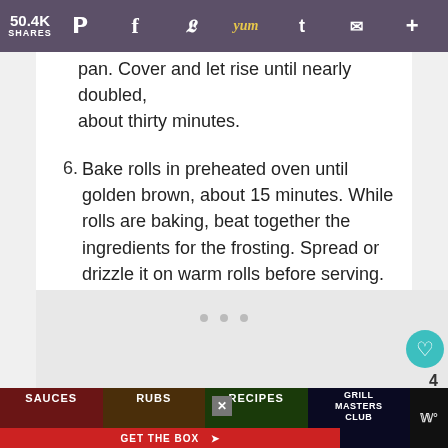50.4K SHARES — social share bar with Pinterest, Facebook, Twitter, Yummly, Tumblr, Email, Plus icons
Place rolls in lightly greased 9×13 inch baking pan. Cover and let rise until nearly doubled, about thirty minutes.
6. Bake rolls in preheated oven until golden brown, about 15 minutes. While rolls are baking, beat together the ingredients for the frosting. Spread or drizzle it on warm rolls before serving.
[Figure (photo): Gray placeholder ad/image area]
SAUCES  RUBS  RECIPES  GRILL MASTERS CLUB — GET THE BOX >